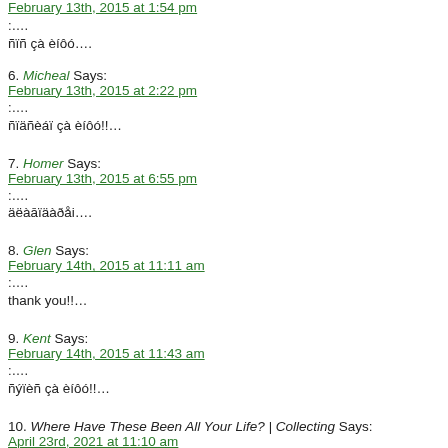February 13th, 2015 at 1:54 pm
:….
ñïñ çà èíôó….
6. Micheal Says:
February 13th, 2015 at 2:22 pm
:….
ñïäñèáï çà èíôó!!…
7. Homer Says:
February 13th, 2015 at 6:55 pm
:….
äëàāïäàðåi….
8. Glen Says:
February 14th, 2015 at 11:11 am
:….
thank you!!…
9. Kent Says:
February 14th, 2015 at 11:43 am
:….
ñýïèñ çà èíôó!!…
10. Where Have These Been All Your Life? | Collecting Says:
April 23rd, 2021 at 11:10 am
Korey Keneipp…
Discover Willow Tree figurines that collectors adore and people buying a gift will wish they found years ago. Find out tips on how these affordable beautiful art pieces are made, shipping them worldwide, the best prices and more…